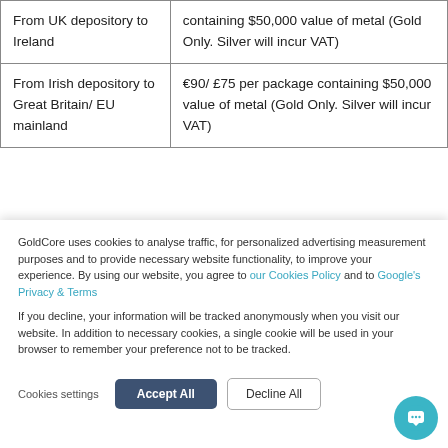| Route | Fee |
| --- | --- |
| From UK depository to Ireland | containing $50,000 value of metal (Gold Only. Silver will incur VAT) |
| From Irish depository to Great Britain/ EU mainland | €90/ £75 per package containing $50,000 value of metal (Gold Only. Silver will incur VAT) |
GoldCore uses cookies to analyse traffic, for personalized advertising measurement purposes and to provide necessary website functionality, to improve your experience. By using our website, you agree to our Cookies Policy and to Google's Privacy & Terms
If you decline, your information will be tracked anonymously when you visit our website. In addition to necessary cookies, a single cookie will be used in your browser to remember your preference not to be tracked.